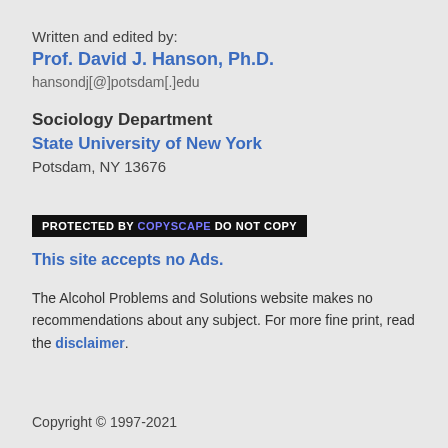Written and edited by:
Prof. David J. Hanson, Ph.D.
hansondj[@]potsdam[.]edu
Sociology Department
State University of New York
Potsdam, NY 13676
[Figure (other): PROTECTED BY COPYSCAPE DO NOT COPY badge — black background with white and purple text]
This site accepts no Ads.
The Alcohol Problems and Solutions website makes no recommendations about any subject. For more fine print, read the disclaimer.
Copyright © 1997-2021